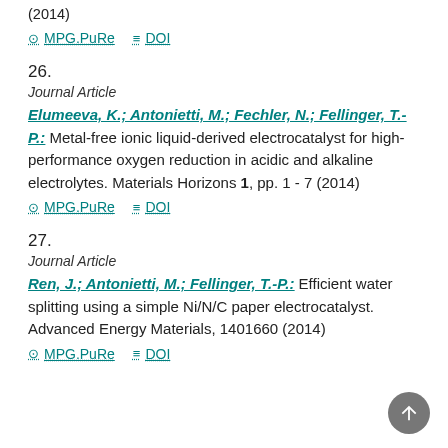sol-gel routes. Chemistry of Materials 26 (1), pp. 150 - 210 (2014)
MPG.PuRe   DOI
26.
Journal Article
Elumeeva, K.; Antonietti, M.; Fechler, N.; Fellinger, T.-P.: Metal-free ionic liquid-derived electrocatalyst for high-performance oxygen reduction in acidic and alkaline electrolytes. Materials Horizons 1, pp. 1 - 7 (2014)
MPG.PuRe   DOI
27.
Journal Article
Ren, J.; Antonietti, M.; Fellinger, T.-P.: Efficient water splitting using a simple Ni/N/C paper electrocatalyst. Advanced Energy Materials, 1401660 (2014)
MPG.PuRe   DOI